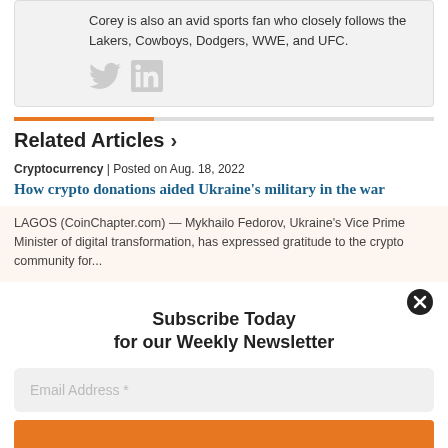Corey is also an avid sports fan who closely follows the Lakers, Cowboys, Dodgers, WWE, and UFC.
[Figure (illustration): Twitter and LinkedIn social media icons in gray]
Related Articles ›
Cryptocurrency | Posted on Aug. 18, 2022
How crypto donations aided Ukraine's military in the war
LAGOS (CoinChapter.com) — Mykhailo Fedorov, Ukraine's Vice Prime Minister of digital transformation, has expressed gratitude to the crypto community for...
Subscribe Today
for our Weekly Newsletter
Email Address *